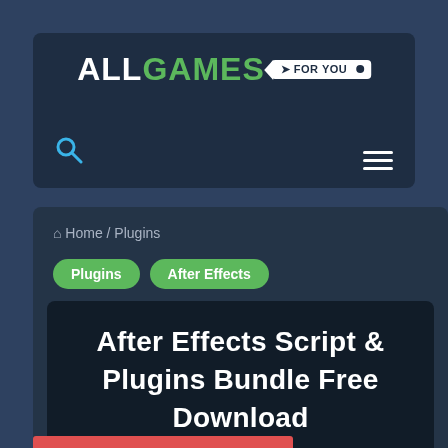ALL GAMES FOR YOU
Home / Plugins
Plugins
After Effects
After Effects Script & Plugins Bundle Free Download